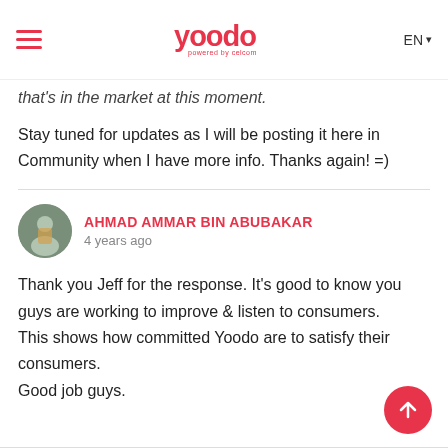Yoodo - powered by celcom | EN
that's in the market at this moment.
Stay tuned for updates as I will be posting it here in Community when I have more info. Thanks again! =)
AHMAD AMMAR BIN ABUBUKAR
4 years ago

Thank you Jeff for the response. It's good to know you guys are working to improve & listen to consumers.
This shows how committed Yoodo are to satisfy their consumers.
Good job guys.